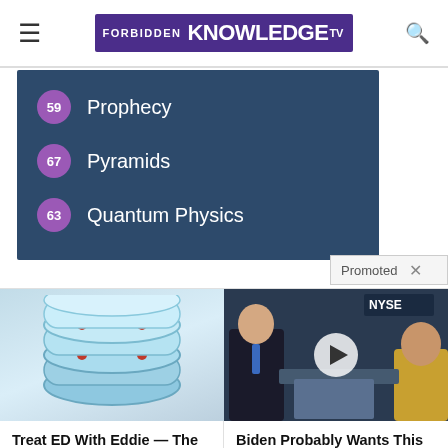FORBIDDEN KNOWLEDGE TV
59  Prophecy
67  Pyramids
63  Quantum Physics
Promoted  X
[Figure (photo): Blue wearable bracelet/ring device for ED treatment]
Treat ED With Eddie — The Proven, Comfortable Wearable That Comes With A Satisfaction Guarantee
Find Out More
[Figure (screenshot): Video thumbnail showing man at NYSE studio with play button overlay]
Biden Probably Wants This Video Destroyed — Drastic Changes Happening To The US Dollar?
Watch The Video